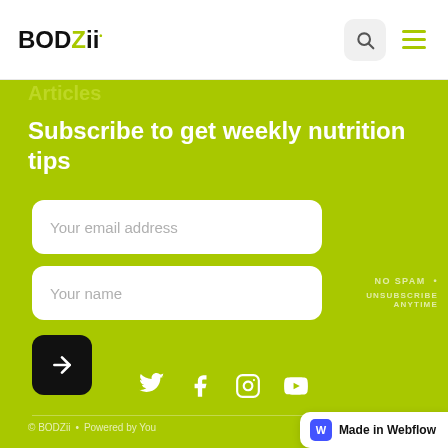BODZii — logo with search and hamburger menu
Subscribe to get weekly nutrition tips
Your email address
Your name
NO SPAM • UNSUBSCRIBE ANYTIME
[Figure (other): Arrow button (submit)]
[Figure (other): Social media icons: Twitter, Facebook, Instagram, YouTube]
© BODZii • Powered by You  |  Made in Webflow